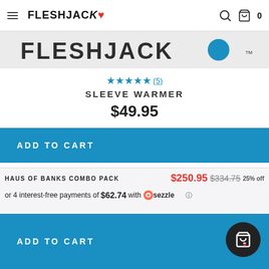FLESHJACK (logo with maple leaf) | search icon | cart icon 0
[Figure (logo): Fleshjack brand strip with stylized text logo]
★★★★★ (5)
SLEEVE WARMER
$49.95
ADD TO CART
HAUS OF BANKS COMBO PACK
$250.95 $334.75 25% off
or 4 interest-free payments of $62.74 with Sezzle ⓘ
ADD TO CART